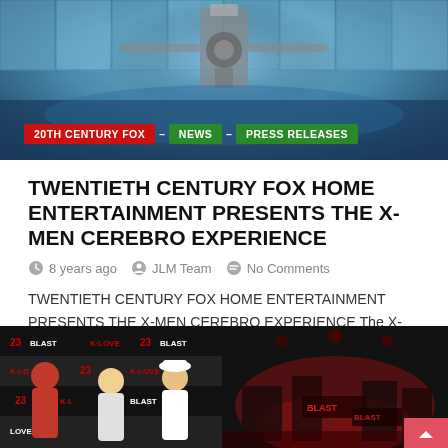[Figure (photo): Hero image showing a metallic Cerebro machine from X-Men with glowing blue background. Overlaid navigation tags: 20TH CENTURY FOX, NEWS, PRESS RELEASES.]
TWENTIETH CENTURY FOX HOME ENTERTAINMENT PRESENTS THE X-MEN CEREBRO EXPERIENCE
8 years ago   JLM Team   No Comments
TWENTIETH CENTURY FOX HOME ENTERTAINMENT PRESENTS THE X-MEN CEREBRO EXPERIENCE The X-Men Team Brings a Fully Immersive, 360-degree Virtual Reality Experience Utilizing State of the Art Oculus Rift Technology to…
[Figure (photo): Left thumbnail: Three men posing in front of a 23 Blast and K-LOVE branded backdrop.]
[Figure (photo): Right thumbnail: Dark red-lit event or screening room interior with 23 Blast branding.]